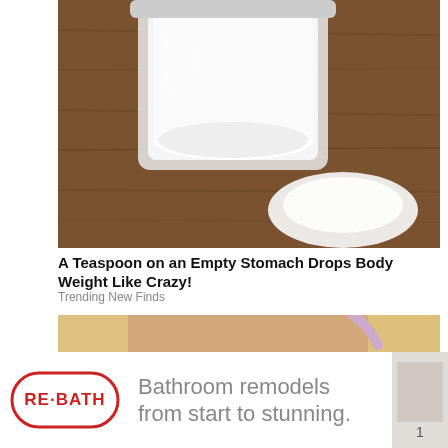[Figure (photo): White powder in a glass jar with powder spilled on a wooden table]
A Teaspoon on an Empty Stomach Drops Body Weight Like Crazy!
Trending New Finds
[Figure (photo): Close-up of a woman's face with smeared dark eye makeup, blue eyes, blonde hair, applying makeup with pink brush]
[Figure (logo): RE-BATH logo in oval with text: Bathroom remodels from start to stunning.]